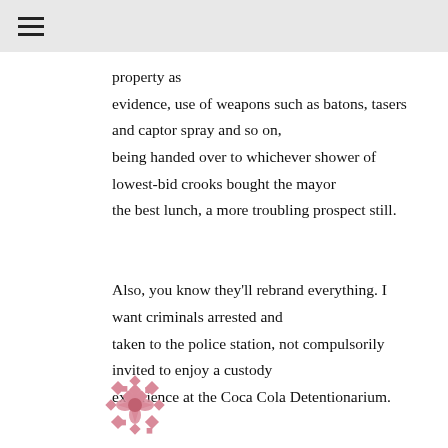≡
property as
evidence, use of weapons such as batons, tasers and captor spray and so on,
being handed over to whichever shower of lowest-bid crooks bought the mayor
the best lunch, a more troubling prospect still.

Also, you know they'll rebrand everything. I want criminals arrested and
taken to the police station, not compulsorily invited to enjoy a custody
experience at the Coca Cola Detentionarium.
[Figure (illustration): Decorative pink/rose floral or snowflake-like geometric pattern in the bottom left corner of the page.]